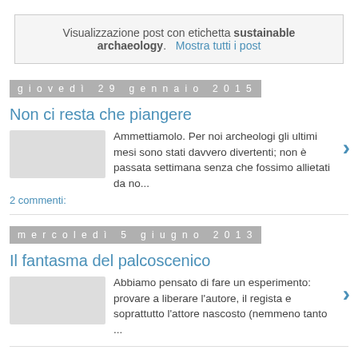Visualizzazione post con etichetta sustainable archaeology.   Mostra tutti i post
giovedì 29 gennaio 2015
Non ci resta che piangere
Ammettiamolo. Per noi archeologi gli ultimi mesi sono stati davvero divertenti; non è passata settimana senza che fossimo allietati da no...
2 commenti:
mercoledì 5 giugno 2013
Il fantasma del palcoscenico
Abbiamo pensato di fare un esperimento: provare a liberare l'autore, il regista e soprattutto l'attore nascosto (nemmeno tanto ...
lunedì 18 marzo 2013